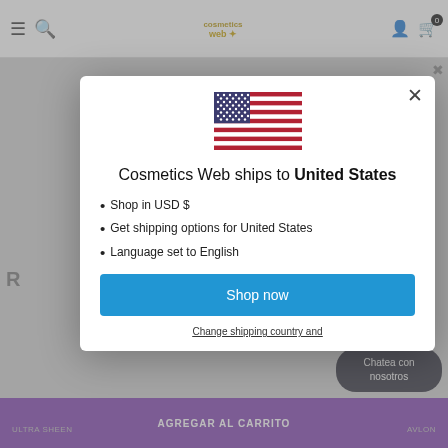[Figure (screenshot): Background website screenshot showing cosmetics web store header with hamburger menu, search icon, gold logo, user icon, and cart icon with badge showing 0]
[Figure (screenshot): Background blurred page content showing partial letter R and a purple add-to-cart bar at bottom with text AGREGAR AL CARRITO, and brand labels ULTRA SHEEN and AVLON]
[Figure (screenshot): US flag icon centered in modal]
Cosmetics Web ships to United States
Shop in USD $
Get shipping options for United States
Language set to English
Shop now
Change shipping country and
Chatea con nosotros